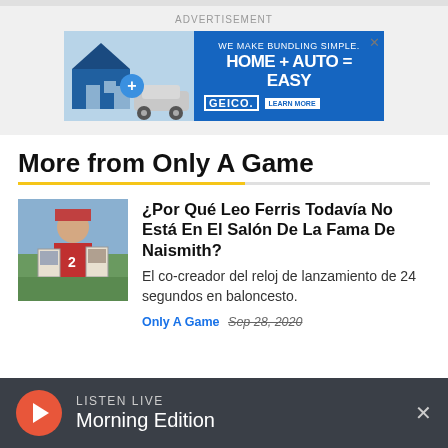ADVERTISEMENT
[Figure (screenshot): GEICO advertisement banner: WE MAKE BUNDLING SIMPLE. HOME + AUTO = EASY. LEARN MORE. Shows house and car images on left side.]
More from Only A Game
[Figure (photo): Thumbnail photo of a person in a red shirt holding photographs, outdoors with green landscape background.]
¿Por Qué Leo Ferris Todavía No Está En El Salón De La Fama De Naismith?
El co-creador del reloj de lanzamiento de 24 segundos en baloncesto.
Only A Game Sep 28, 2020
LISTEN LIVE
Morning Edition